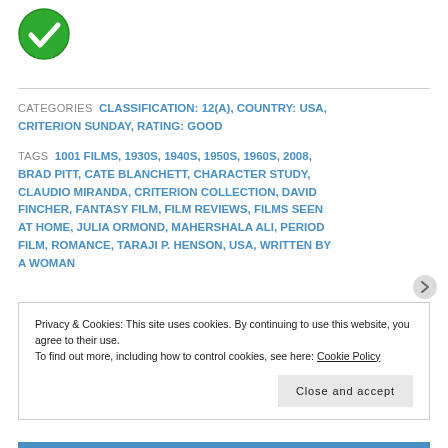[Figure (illustration): Green circle with white checkmark icon]
CATEGORIES  CLASSIFICATION: 12(A), COUNTRY: USA, CRITERION SUNDAY, RATING: GOOD
TAGS  1001 FILMS, 1930S, 1940S, 1950S, 1960S, 2008, BRAD PITT, CATE BLANCHETT, CHARACTER STUDY, CLAUDIO MIRANDA, CRITERION COLLECTION, DAVID FINCHER, FANTASY FILM, FILM REVIEWS, FILMS SEEN AT HOME, JULIA ORMOND, MAHERSHALA ALI, PERIOD FILM, ROMANCE, TARAJI P. HENSON, USA, WRITTEN BY A WOMAN
Privacy & Cookies: This site uses cookies. By continuing to use this website, you agree to their use.
To find out more, including how to control cookies, see here: Cookie Policy
Close and accept